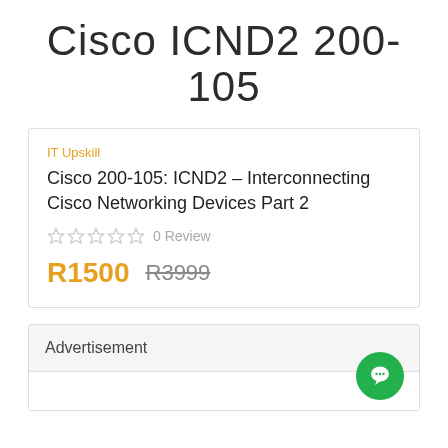Cisco ICND2  200-105
IT Upskill
Cisco 200-105: ICND2 – Interconnecting Cisco Networking Devices Part 2
0 Review
R1500  R3999
Advertisement
[Figure (other): Green circular chat button with speech bubble icon]